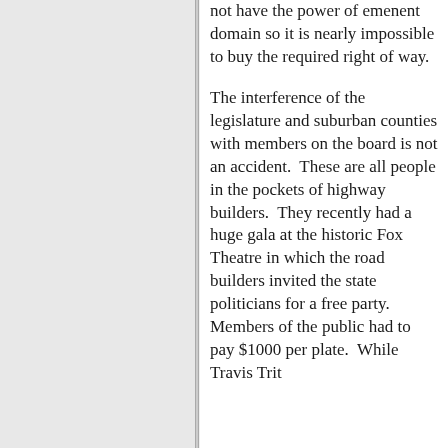not have the power of emenent domain so it is nearly impossible to buy the required right of way.
The interference of the legislature and suburban counties with members on the board is not an accident.  These are all people in the pockets of highway builders.  They recently had a huge gala at the historic Fox Theatre in which the road builders invited the state politicians for a free party.  Members of the public had to pay $1000 per plate.  While Travis Trit